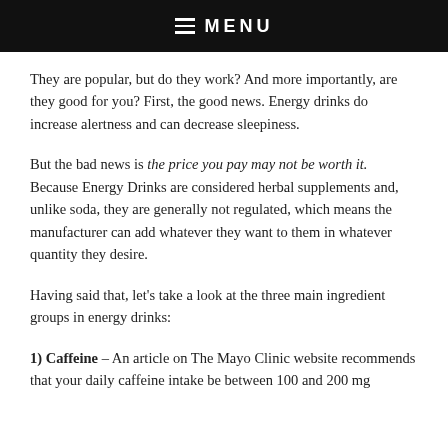MENU
They are popular, but do they work? And more importantly, are they good for you? First, the good news. Energy drinks do increase alertness and can decrease sleepiness.
But the bad news is the price you pay may not be worth it. Because Energy Drinks are considered herbal supplements and, unlike soda, they are generally not regulated, which means the manufacturer can add whatever they want to them in whatever quantity they desire.
Having said that, let's take a look at the three main ingredient groups in energy drinks:
1) Caffeine – An article on The Mayo Clinic website recommends that your daily caffeine intake be between 100 and 200 mg